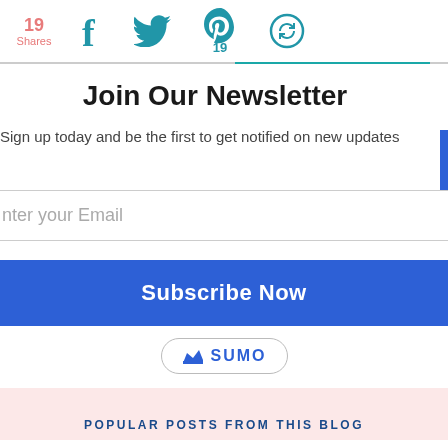19 Shares
[Figure (infographic): Social share bar with icons for Facebook, Twitter, Pinterest (showing 19), and a share/circle icon. Teal colored icons.]
Join Our Newsletter
Sign up today and be the first to get notified on new updates
Enter your Email
Subscribe Now
[Figure (logo): Sumo badge with crown logo and SUMO text in a pill-shaped border]
POPULAR POSTS FROM THIS BLOG